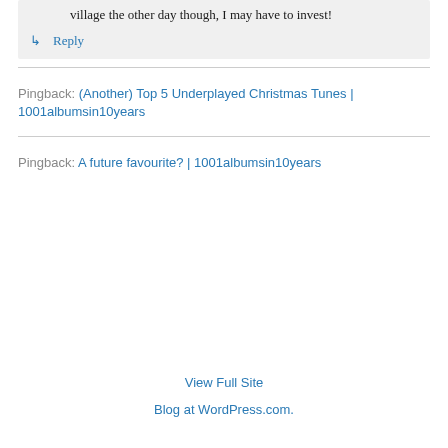village the other day though, I may have to invest!
↳ Reply
Pingback: (Another) Top 5 Underplayed Christmas Tunes | 1001albumsin10years
Pingback: A future favourite? | 1001albumsin10years
View Full Site
Blog at WordPress.com.